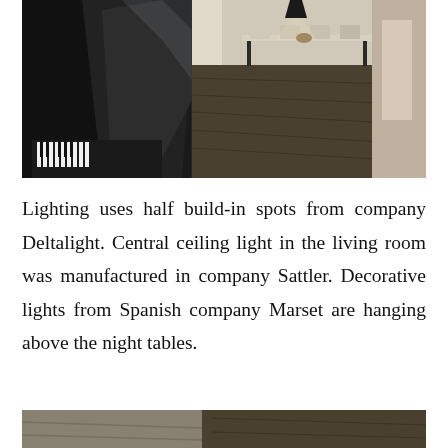[Figure (photo): Interior photo showing a grand piano on the left side and a modern dining room with a long table, chairs, and dark hardwood floors on the right side. Pendant lamp visible at top.]
Lighting uses half build-in spots from company Deltalight. Central ceiling light in the living room was manufactured in company Sattler. Decorative lights from Spanish company Marset are hanging above the night tables.
[Figure (photo): Partial interior photograph visible at the bottom of the page.]